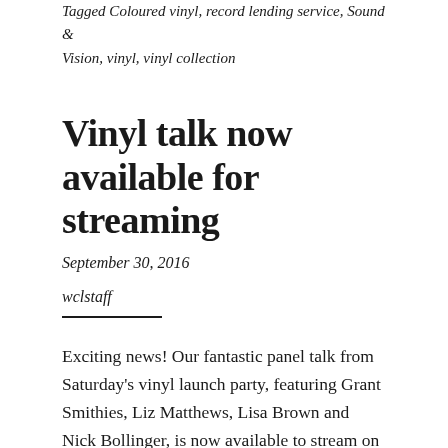Tagged Coloured vinyl, record lending service, Sound & Vision, vinyl, vinyl collection
Vinyl talk now available for streaming
September 30, 2016
wclstaff
Exciting news! Our fantastic panel talk from Saturday's vinyl launch party, featuring Grant Smithies, Liz Matthews, Lisa Brown and Nick Bollinger, is now available to stream on SoundCloud. We've split it into two segments for ease of listening. Check them out below or